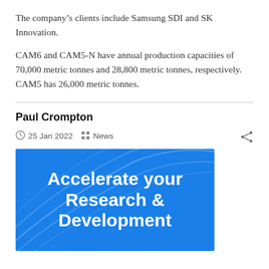The company's clients include Samsung SDI and SK Innovation.
CAM6 and CAM5-N have annual production capacities of 70,000 metric tonnes and 28,800 metric tonnes, respectively. CAM5 has 26,000 metric tonnes.
Paul Crompton
25 Jan 2022  News
[Figure (illustration): Blue promotional banner with white curved lines and bold white text reading 'Accelerate your Research & Development']